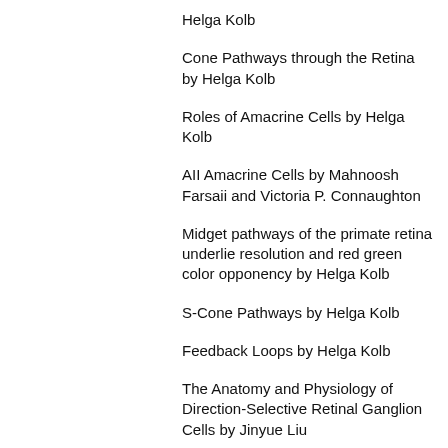Helga Kolb
Cone Pathways through the Retina by Helga Kolb
Roles of Amacrine Cells by Helga Kolb
AII Amacrine Cells by Mahnoosh Farsaii and Victoria P. Connaughton
Midget pathways of the primate retina underlie resolution and red green color opponency by Helga Kolb
S-Cone Pathways by Helga Kolb
Feedback Loops by Helga Kolb
The Anatomy and Physiology of Direction-Selective Retinal Ganglion Cells by Jinyue Liu
Myriad Roles for Gap Junctions in Retinal Circuits by Stuart Trenholm and Gautam R. Awatramani